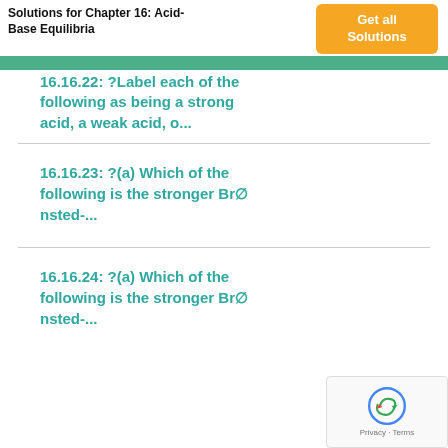Solutions for Chapter 16: Acid-Base Equilibria
Get all Solutions
16.16.22: ?Label each of the following as being a strong acid, a weak acid, o...
16.16.23: ?(a) Which of the following is the stronger Brønsted-...
16.16.24: ?(a) Which of the following is the stronger Brønsted-...